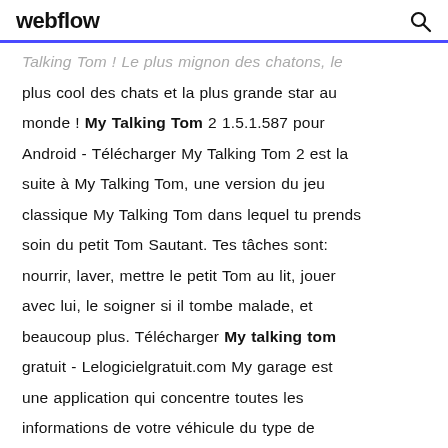webflow
Talking Tom ! Le plus mignon des chatons, le plus cool des chats et la plus grande star au monde ! My Talking Tom 2 1.5.1.587 pour Android - Télécharger My Talking Tom 2 est la suite à My Talking Tom, une version du jeu classique My Talking Tom dans lequel tu prends soin du petit Tom Sautant. Tes tâches sont: nourrir, laver, mettre le petit Tom au lit, jouer avec lui, le soigner si il tombe malade, et beaucoup plus. Télécharger My talking tom gratuit - Lelogicielgratuit.com My garage est une application qui concentre toutes les informations de votre véhicule du type de moteur au type d'assurance en passant par l'immatriculation [...] my garage eest